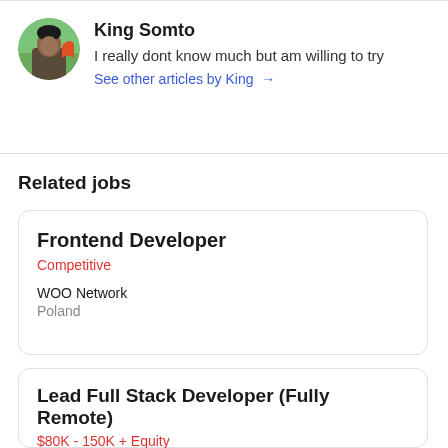[Figure (photo): Circular avatar photo of King Somto, a person with dark hair outdoors]
King Somto
I really dont know much but am willing to try
See other articles by King →
Related jobs
Frontend Developer
Competitive
WOO Network
Poland
Lead Full Stack Developer (Fully Remote)
$80K - 150K + Equity
Phosphor Co